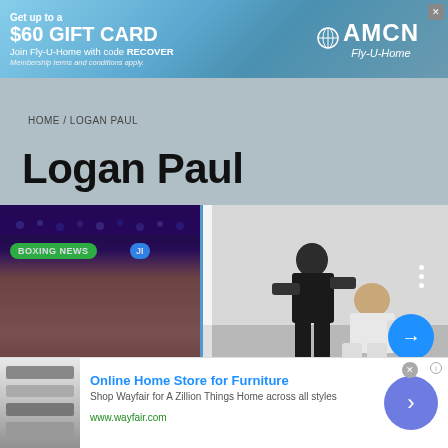[Figure (screenshot): AMCN Fly-U-Home advertisement banner with blue sky and airplane background. Text: Get up to a $60 GIFT CARD, Join Fly-U-Home with code RECOVER, Membership terms and conditions apply.]
HOME / LOGAN PAUL
Logan Paul
[Figure (photo): Boxing news image showing a man at an event with BOXING NEWS badge overlay, plus 'JI' badge]
[Figure (photo): Video screenshot showing a person in motion, with 'Facebook founder Mark' text overlay]
[Figure (photo): Two people in a wrestling/grappling training session on a mat]
[Figure (screenshot): Wayfair advertisement - Online Home Store for Furniture. Shop Wayfair for A Zillion Things Home across all styles. www.wayfair.com]